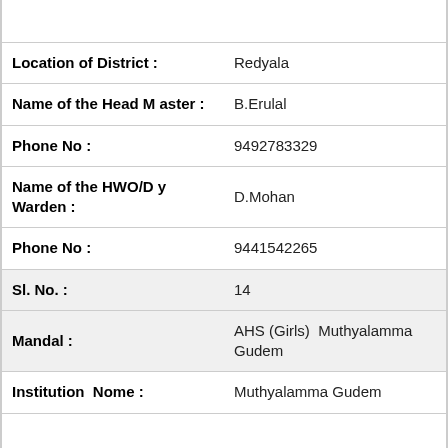| Location of District : | Redyala |
| Name of the Head Master : | B.Erulal |
| Phone No : | 9492783329 |
| Name of the HWO/Dy Warden : | D.Mohan |
| Phone No : | 9441542265 |
| Sl. No. : | 14 |
| Mandal : | AHS (Girls)  Muthyalamma Gudem |
| Institution  Nome : | Muthyalamma Gudem |